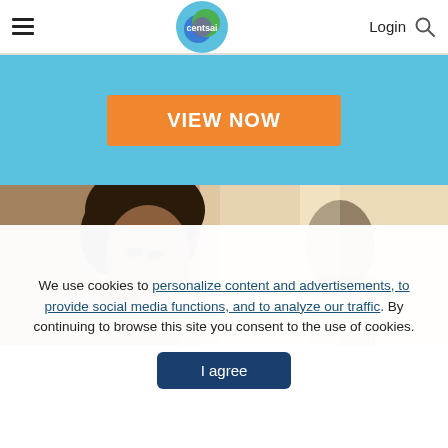centsai — Login
[Figure (other): Orange button with text VIEW NOW on a light blue background banner]
[Figure (photo): A young Black woman looking sad or distressed, resting her chin on her hand, with a blurred man in the background]
We use cookies to personalize content and advertisements, to provide social media functions, and to analyze our traffic. By continuing to browse this site you consent to the use of cookies.
I agree